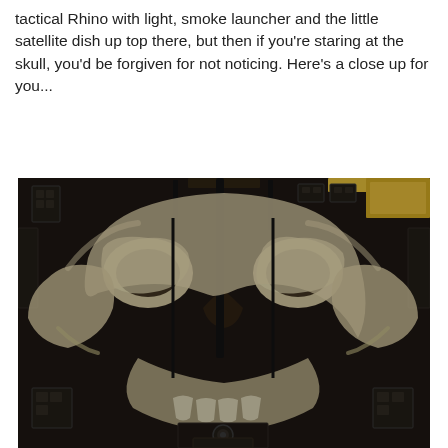tactical Rhino with light, smoke launcher and the little satellite dish up top there, but then if you're staring at the skull, you'd be forgiven for not noticing. Here's a close up for you...
[Figure (photo): Close-up photograph of the top of a dark armored vehicle (Warhammer 40K Rhino APC) showing a skull artwork painted in cream/bone colors on the black armored panels. The skull design spans across the hatch area of the vehicle top.]